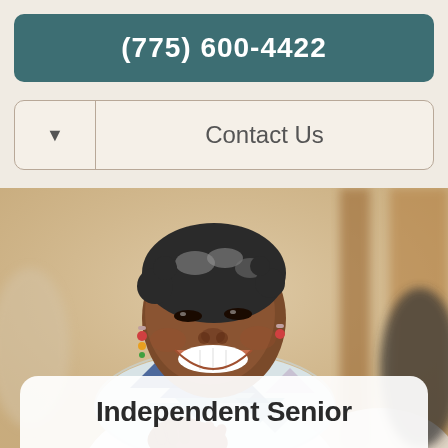(775) 600-4422
Contact Us
[Figure (photo): Smiling senior Black woman with natural gray hair, wearing a white top and colorful geometric patterned scarf, hands clasped together, laughing joyfully in an indoor setting with warm blurred background.]
Independent Senior